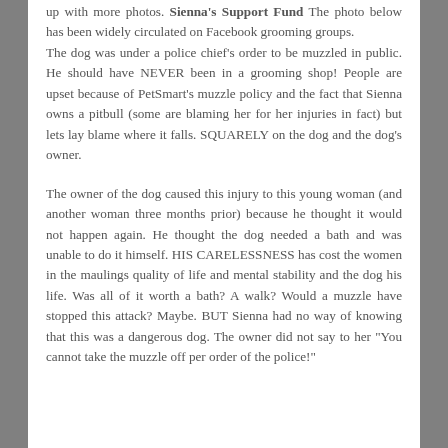up with more photos. Sienna's Support Fund The photo below has been widely circulated on Facebook grooming groups.
The dog was under a police chief's order to be muzzled in public. He should have NEVER been in a grooming shop! People are upset because of PetSmart's muzzle policy and the fact that Sienna owns a pitbull (some are blaming her for her injuries in fact) but lets lay blame where it falls. SQUARELY on the dog and the dog's owner.
The owner of the dog caused this injury to this young woman (and another woman three months prior) because he thought it would not happen again. He thought the dog needed a bath and was unable to do it himself. HIS CARELESSNESS has cost the women in the maulings quality of life and mental stability and the dog his life. Was all of it worth a bath? A walk? Would a muzzle have stopped this attack? Maybe. BUT Sienna had no way of knowing that this was a dangerous dog. The owner did not say to her "You cannot take the muzzle off per order of the police!"